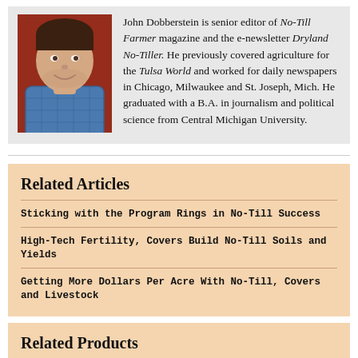[Figure (photo): Headshot photo of John Dobberstein, a man in a blue checkered shirt, smiling, with a red background]
John Dobberstein is senior editor of No-Till Farmer magazine and the e-newsletter Dryland No-Tiller. He previously covered agriculture for the Tulsa World and worked for daily newspapers in Chicago, Milwaukee and St. Joseph, Mich. He graduated with a B.A. in journalism and political science from Central Michigan University.
Related Articles
Sticking with the Program Rings in No-Till Success
High-Tech Fertility, Covers Build No-Till Soils and Yields
Getting More Dollars Per Acre With No-Till, Covers and Livestock
Related Products